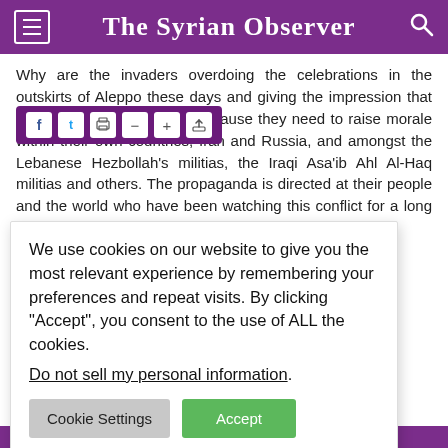The Syrian Observer
Why are the invaders overdoing the celebrations in the outskirts of Aleppo these days and giving the impression that the war is ending? This is because they need to raise morale within their own countries; Iran and Russia, and amongst the Lebanese Hezbollah's militias, the Iraqi Asa'ib Ahl Al-Haq militias and others. The propaganda is directed at their people and the world who have been watching this conflict for a long time and who have failed to attain victory despite being [partially occluded] n that does not [partially occluded] ans that they are [partially occluded] y win the current [partially occluded] y force them to [partially occluded] fight against – a [partially occluded] es who see the [partially occluded] irnational conflict, [partially occluded] thdrawal, just as [partially occluded] he consequences of that for Damascus and Tehran.
We use cookies on our website to give you the most relevant experience by remembering your preferences and repeat visits. By clicking "Accept", you consent to the use of ALL the cookies.
Do not sell my personal information.
Cookie Settings | Accept